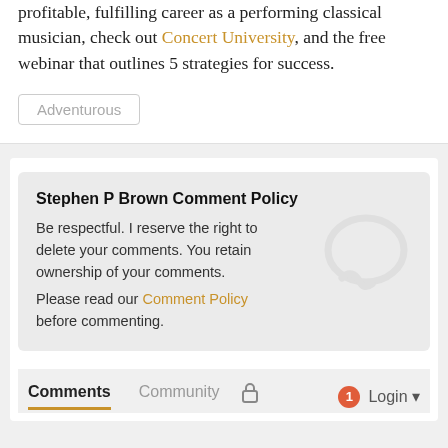profitable, fulfilling career as a performing classical musician, check out Concert University, and the free webinar that outlines 5 strategies for success.
Adventurous
Stephen P Brown Comment Policy
Be respectful. I reserve the right to delete your comments. You retain ownership of your comments. Please read our Comment Policy before commenting.
Comments  Community  Login